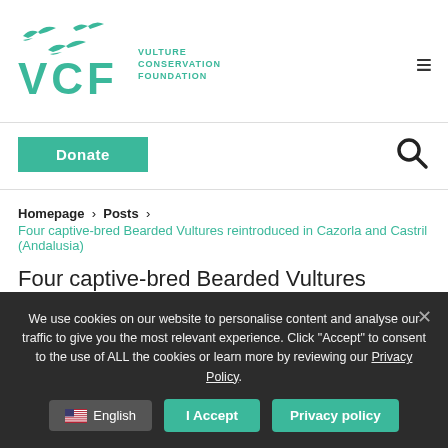[Figure (logo): VCF Vulture Conservation Foundation logo with flying vultures silhouettes in teal/green]
Donate
Homepage > Posts > Four captive-bred Bearded Vultures reintroduced in Cazorla and Castril (Andalusia)
Four captive-bred Bearded Vultures reintroduced in Cazorla and Castril (Andalusia)
We use cookies on our website to personalise content and analyse our traffic to give you the most relevant experience. Click "Accept" to consent to the use of ALL the cookies or learn more by reviewing our Privacy Policy.